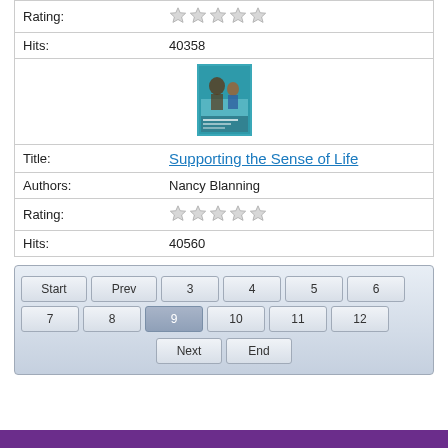| Rating: | ☆☆☆☆☆ |
| Hits: | 40358 |
| [book cover image] |  |
| Title: | Supporting the Sense of Life |
| Authors: | Nancy Blanning |
| Rating: | ☆☆☆☆☆ |
| Hits: | 40560 |
[Figure (infographic): Pagination navigation bar with buttons: Start, Prev, 3, 4, 5, 6, 7, 8, 9 (active), 10, 11, 12, Next, End]
[Figure (photo): Book cover for 'Supporting the Sense of Life' by Nancy Blanning showing adults and child]